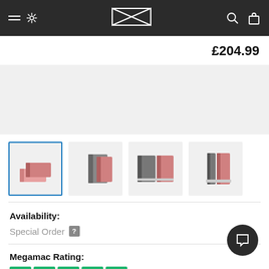Navigation header with logo and icons
£204.99
[Figure (photo): Light grey product image placeholder area]
[Figure (photo): Four product thumbnail images of books/binders in pink and grey, first thumbnail selected with blue border]
Availability:
Special Order ?
Megamac Rating:
[Figure (other): Green rating bars (5 bars shown)]